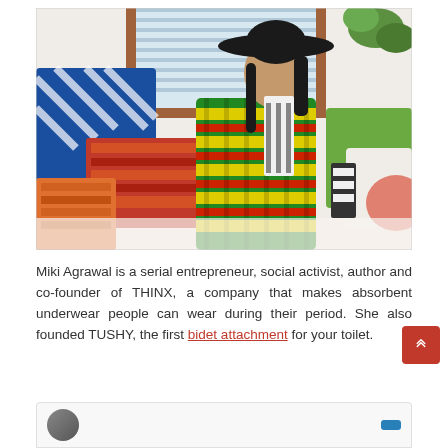[Figure (photo): Woman wearing a colorful patterned coat and wide-brimmed black hat, sitting among many colorful decorative pillows including blue and white patterned, red striped, and orange cushions, with a mirror and plants in the background.]
Miki Agrawal is a serial entrepreneur, social activist, author and co-founder of THINX, a company that makes absorbent underwear people can wear during their period. She also founded TUSHY, the first bidet attachment for your toilet.